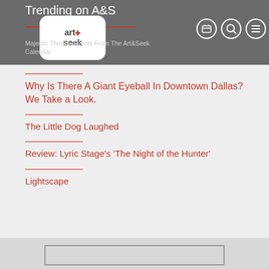Trending on A&S
[Figure (logo): Art+Seek logo in white rounded rectangle]
Majestic Theatre Events From The Art&Seek Calendar
Why Is There A Giant Eyeball In Downtown Dallas? We Take a Look.
The Little Dog Laughed
Review: Lyric Stage's 'The Night of the Hunter'
Lightscape